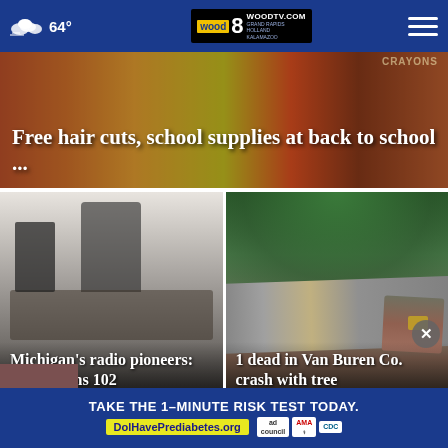64° — WOODTV.COM GRAND RAPIDS, HOLLAND, KALAMAZOO — wood 8 TV
Free hair cuts, school supplies at back to school ...
[Figure (photo): Black and white historical photo of a person at a radio broadcasting setup, with overlaid headline text]
Michigan's radio pioneers: WWI turns 102
[Figure (photo): Color photo of a crashed car against trees, with overlaid headline text]
1 dead in Van Buren Co. crash with tree
[Figure (infographic): Advertisement banner: TAKE THE 1-MINUTE RISK TEST TODAY. DolHavePrediabetes.org — ad council, AMA, CDC logos]